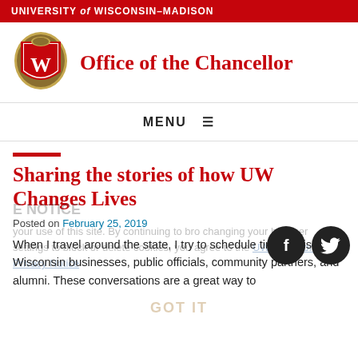UNIVERSITY of WISCONSIN–MADISON
[Figure (logo): University of Wisconsin-Madison shield/crest logo with W emblem]
Office of the Chancellor
MENU ≡
Sharing the stories of how UW Changes Lives
Posted on February 25, 2019
When I travel around the state, I try to schedule time to visit with Wisconsin businesses, public officials, community partners, and alumni. These conversations are a great way to